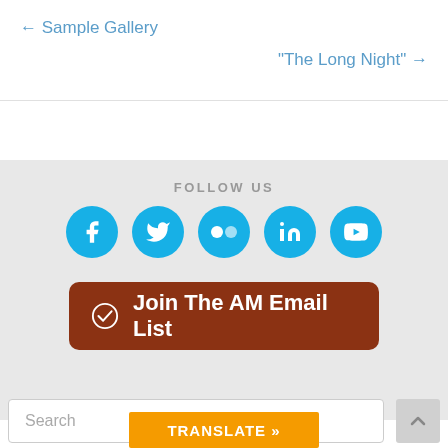← Sample Gallery
"The Long Night" →
FOLLOW US
[Figure (infographic): Five social media icons (Facebook, Twitter, Flickr, LinkedIn, YouTube) as blue circles with white icons]
Join The AM Email List
Search
TRANSLATE »